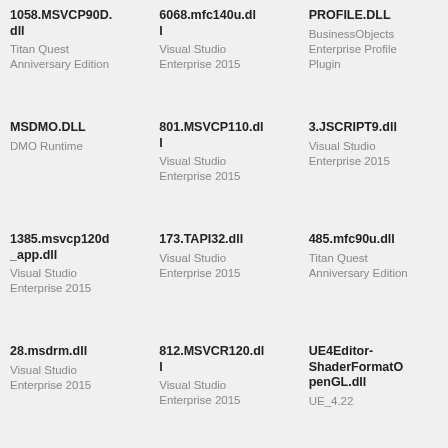1058.MSVCP90D.dll
Titan Quest Anniversary Edition
6068.mfc140u.dl l
Visual Studio Enterprise 2015
PROFILE.DLL
BusinessObjects Enterprise Profile Plugin
MSDMO.DLL
DMO Runtime
801.MSVCP110.dl l
Visual Studio Enterprise 2015
3.JSCRIPT9.dll
Visual Studio Enterprise 2015
1385.msvcp120d_app.dll
Visual Studio Enterprise 2015
173.TAPI32.dll
Visual Studio Enterprise 2015
485.mfc90u.dll
Titan Quest Anniversary Edition
28.msdrm.dll
Visual Studio Enterprise 2015
812.MSVCR120.dl l
Visual Studio Enterprise 2015
UE4Editor-ShaderFormatOpenGL.dll
UE_4.22